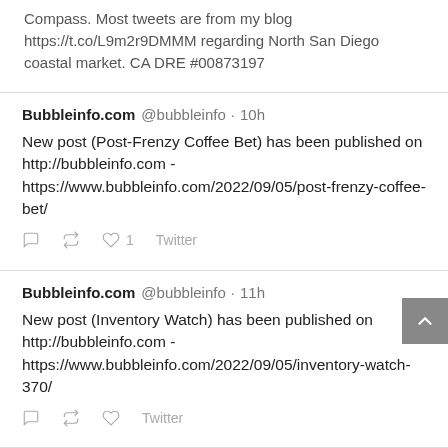Compass. Most tweets are from my blog https://t.co/L9m2r9DMMM regarding North San Diego coastal market. CA DRE #00873197
Bubbleinfo.com @bubbleinfo · 10h
New post (Post-Frenzy Coffee Bet) has been published on http://bubbleinfo.com - https://www.bubbleinfo.com/2022/09/05/post-frenzy-coffee-bet/
Bubbleinfo.com @bubbleinfo · 11h
New post (Inventory Watch) has been published on http://bubbleinfo.com - https://www.bubbleinfo.com/2022/09/05/inventory-watch-370/